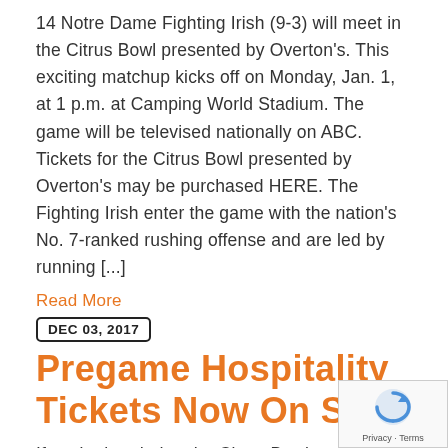14 Notre Dame Fighting Irish (9-3) will meet in the Citrus Bowl presented by Overton's. This exciting matchup kicks off on Monday, Jan. 1, at 1 p.m. at Camping World Stadium. The game will be televised nationally on ABC. Tickets for the Citrus Bowl presented by Overton's may be purchased HERE. The Fighting Irish enter the game with the nation's No. 7-ranked rushing offense and are led by running [...]
Read More
DEC 03, 2017
Pregame Hospitality Tickets Now On Sale
If you're headed to the Citrus Bowl presented by